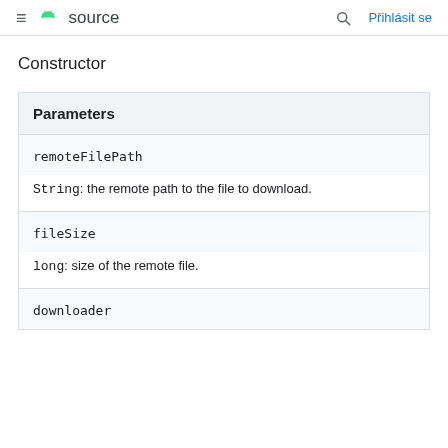≡ source   🔍 Přihlásit se
Constructor
| Parameters |
| --- |
| remoteFilePath | String: the remote path to the file to download. |
| fileSize | long: size of the remote file. |
| downloader |  |